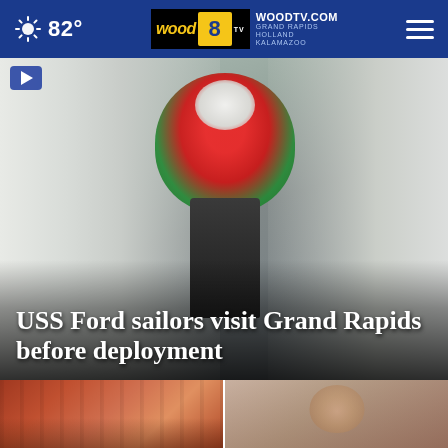82° | WOODTV.COM GRAND RAPIDS HOLLAND KALAMAZOO | wood 8 TV
[Figure (photo): Navy sailors in white uniforms standing at a memorial with red and white flowers, viewed from behind]
USS Ford sailors visit Grand Rapids before deployment
[Figure (photo): Blurred stadium crowd scene, appears to be a sports venue]
[Figure (photo): Close-up photo of a bald man's head]